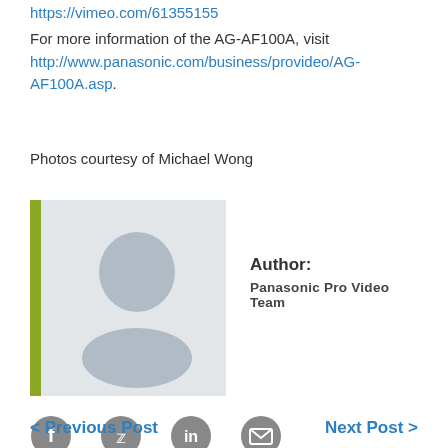https://vimeo.com/61355155
For more information of the AG-AF100A, visit http://www.panasonic.com/business/provideo/AG-AF100A.asp.
Photos courtesy of Michael Wong
[Figure (illustration): Author avatar with green left bar accent, placeholder person silhouette in grey box, Author: Panasonic Pro Video Team]
Author: Panasonic Pro Video Team
[Figure (infographic): Social sharing icons: Facebook, Twitter, LinkedIn, Email]
< Previous Post
Next Post >